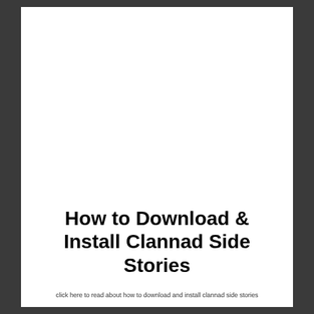How to Download & Install Clannad Side Stories
click here to read about how to download and install clannad side stories